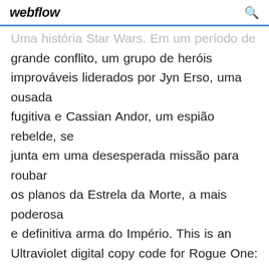webflow
Uma história Star Wars. Em um período de grande conflito, um grupo de heróis improváveis liderados por Jyn Erso, uma ousada fugitiva e Cassian Andor, um espião rebelde, se junta em uma desesperada missão para roubar os planos da Estrela da Morte, a mais poderosa e definitiva arma do Império. This is an Ultraviolet digital copy code for Rogue One: A Star Wars Story. Instantly after your payment, you will receive an unused redeem code, which can be entered into the ultraviolet software in order to get a legal digital download and/or stream of the movie! Related searches older mom hidden masterbation mom daughters boyfriend roguemom z mom visits son her mom